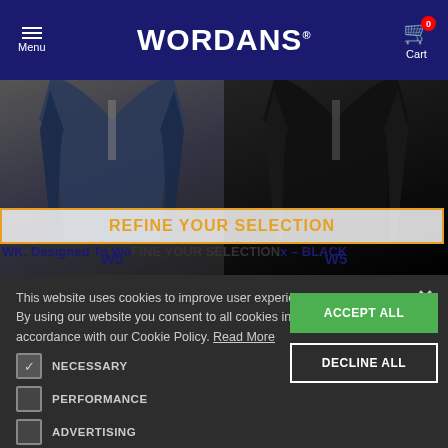[Figure (screenshot): Wordans e-commerce website navigation bar with hamburger menu, WORDANS logo, and shopping cart showing 0 items]
[Figure (screenshot): Product images showing two vests (W5 label) on gray/dark background with 'REFINE YOUR SELECTION' banner overlay]
WK. Designed To Wo... × BLACK
This website uses cookies to improve user experience. By using our website you consent to all cookies in accordance with our Cookie Policy. Read More
NECESSARY
PERFORMANCE
ADVERTISING
FUNCTIONALITY